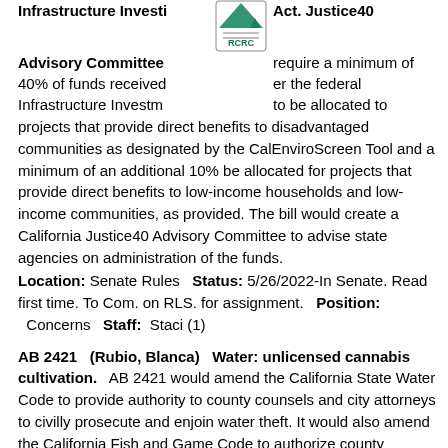Infrastructure Invest... Advisory Committee [RCRC logo] Act. Justice40 require a minimum of 40% of funds received er the federal Infrastructure Investm... to be allocated to projects that provide direct benefits to disadvantaged communities as designated by the CalEnviroScreen Tool and a minimum of an additional 10% be allocated for projects that provide direct benefits to low-income households and low-income communities, as provided. The bill would create a California Justice40 Advisory Committee to advise state agencies on administration of the funds.
Location: Senate Rules   Status: 5/26/2022-In Senate. Read first time. To Com. on RLS. for assignment.   Position:   Concerns   Staff:  Staci (1)
AB 2421   (Rubio, Blanca)   Water: unlicensed cannabis cultivation.   AB 2421 would amend the California State Water Code to provide authority to county counsels and city attorneys to civilly prosecute and enjoin water theft. It would also amend the California Fish and Game Code to authorize county counsels to civilly prosecute and enjoin water pollution. By removing existing limitations on prosecutorial authority, the bill provides more tools for local governments to use against the harmful community impacts of illicit